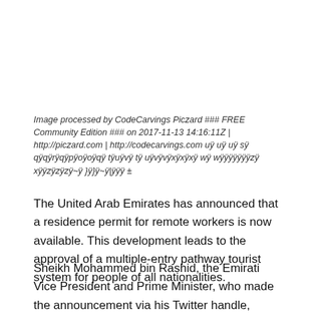Image processed by CodeCarvings Piczard ### FREE Community Edition ### on 2017-11-13 14:16:11Z | http://piczard.com | http://codecarvings.com uÿ uÿ uÿ sÿ qÿqÿrÿqÿpÿoÿoÿqÿ tÿuÿvÿ tÿ uÿvÿvÿxÿxÿxÿ wÿ wÿÿÿÿÿÿÿzÿ xÿÿzÿzÿzÿ~ÿ }ÿ}ÿ~ÿ|ÿÿÿ ±
The United Arab Emirates has announced that a residence permit for remote workers is now available. This development leads to the approval of a multiple-entry pathway tourist system for people of all nationalities.
Sheikh Mohammed bin Rashid, the Emirati Vice President and Prime Minister, who made the announcement via his Twitter handle, explained that the introduction of the new residency permit means that “any employee anywhere in the